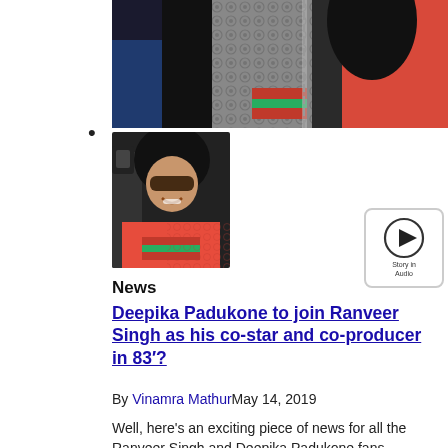[Figure (photo): Top cropped photo of people including someone wearing a Gucci jacket with red/green stripes and another in a red jacket with dark hair, with a chain/necklace visible]
•
[Figure (photo): Thumbnail photo of a woman with long dark hair, sunglasses, smiling, wearing a red Gucci jacket]
[Figure (other): Story in Audio play button widget]
News
Deepika Padukone to join Ranveer Singh as his co-star and co-producer in 83′?
By Vinamra MathurMay 14, 2019
Well, here's an exciting piece of news for all the Ranveer Singh and Deepika Padukone fans....